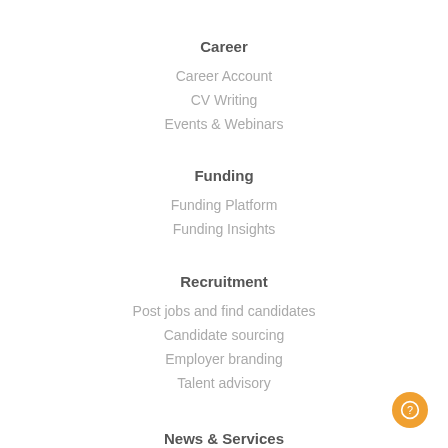Career
Career Account
CV Writing
Events & Webinars
Funding
Funding Platform
Funding Insights
Recruitment
Post jobs and find candidates
Candidate sourcing
Employer branding
Talent advisory
News & Services